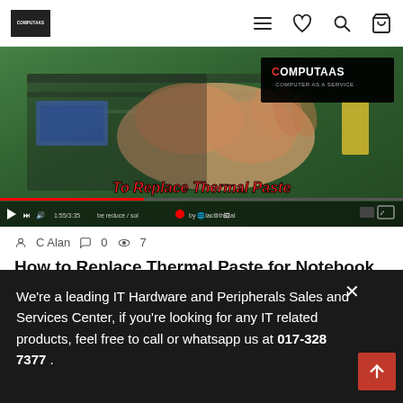COMPUTAAS | Computer as a Service — navigation header with menu, wishlist, search, cart icons
[Figure (screenshot): Video thumbnail showing hands replacing thermal paste on a laptop on a green workbench. COMPUTAAS logo in top right. Title 'To Replace Thermal Paste' in red italic text. Video progress bar and controls at the bottom.]
C Alan  0  7
How to Replace Thermal Paste for Notebook Computer
Replace Thermal Paste for Notebook ComputerRefer here for more information on reasons why we need to
We're a leading IT Hardware and Peripherals Sales and Services Center, if you're looking for any IT related products, feel free to call or whatsapp us at 017-328 7377 .